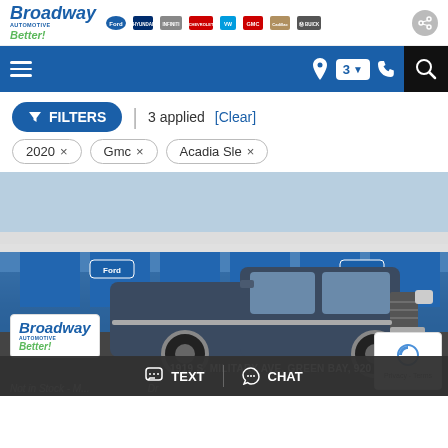[Figure (logo): Broadway Automotive Better! logo with Ford, Hyundai, Infiniti, Chevrolet, Volkswagen, GMC, Cadillac, Buick brand logos]
[Figure (screenshot): Blue navigation bar with hamburger menu, location pin, '3' location badge with dropdown, phone icon, and search icon]
FILTERS | 3 applied [Clear]
2020 ×
Gmc ×
Acadia Sle ×
[Figure (photo): Dark blue Ford F-150 truck parked in front of a blue and white building with Ford signage. Broadway Automotive Better! logo watermark in bottom left.]
1919 S. MILITARY AVE, GREEN BAY, 920 4...
Not in Stock - M... Dr
TEXT    CHAT